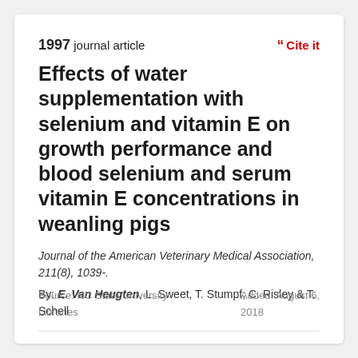1997 journal article
Cite it
Effects of water supplementation with selenium and vitamin E on growth performance and blood selenium and serum vitamin E concentrations in weanling pigs
Journal of the American Veterinary Medical Association, 211(8), 1039-.
By: E. Van Heugten, L. Sweet, T. Stumpf, C. Risley & T. Schell
Source: NC State University Libraries
Added: August 6, 2018